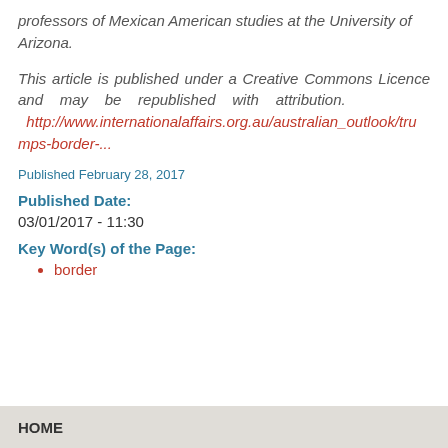professors of Mexican American studies at the University of Arizona.
This article is published under a Creative Commons Licence and may be republished with attribution. http://www.internationalaffairs.org.au/australian_outlook/trumps-border-...
Published February 28, 2017
Published Date:
03/01/2017 - 11:30
Key Word(s) of the Page:
border
HOME